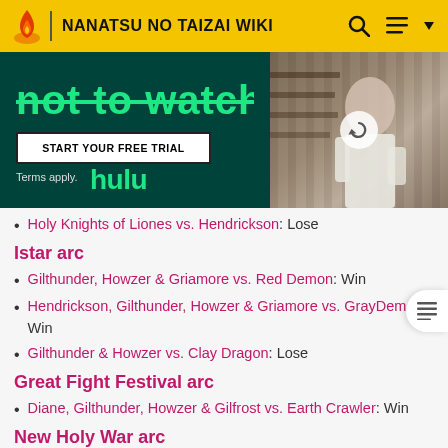NANATSU NO TAIZAI WIKI
[Figure (screenshot): Hulu advertisement banner with green text, 'START YOUR FREE TRIAL' button, Terms apply text, Hulu logo in green, and a person in a library/bookshelf background on the right side.]
Holy Knights of Liones vs. Hendrickson: Lose
Istar arc
Gilthunder, Howzer & Griamore vs. Red Demon: Win
Hendrickson, Gilthunder, Howzer & Griamore vs. Gray Demon: Win
Gilthunder & Howzer vs. Clay Dragon: Lose
Great Fight Festival arc
Diane, Gilthunder, Howzer & Gilfrost vs. Earth Crawler: Win
New Holy War arc